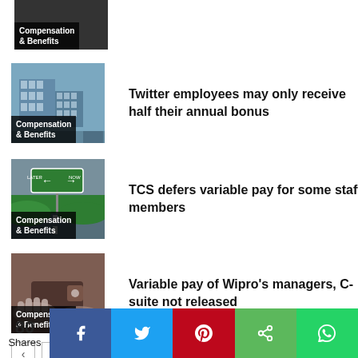[Figure (photo): Partial article thumbnail with 'Compensation & Benefits' label]
[Figure (photo): Building exterior photo with 'Compensation & Benefits' label]
Twitter employees may only receive half their annual bonus
[Figure (photo): Road sign photo with 'Compensation & Benefits' label]
TCS defers variable pay for some staff members
[Figure (photo): Hands with wallet photo with 'Compensation & Benefits' label]
Variable pay of Wipro's managers, C-suite not released
80 Shares